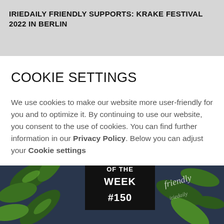IRIEDAILY FRIENDLY SUPPORTS: KRAKE FESTIVAL 2022 IN BERLIN
COOKIE SETTINGS
We use cookies to make our website more user-friendly for you and to optimize it. By continuing to use our website, you consent to the use of cookies. You can find further information in our Privacy Policy. Below you can adjust your Cookie settings
[Figure (photo): Photo of dark navy fabric clothing with green tropical leaves, showing a black label reading 'OF THE WEEK #150' and a white cursive logo on the right side.]